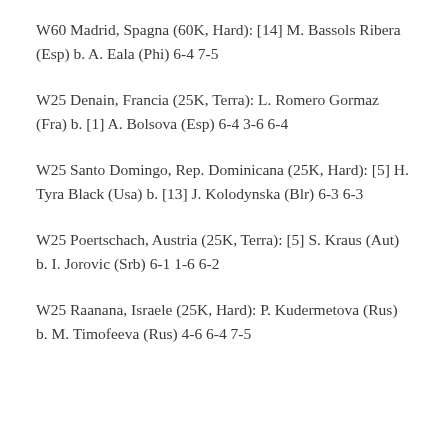W60 Madrid, Spagna (60K, Hard): [14] M. Bassols Ribera (Esp) b. A. Eala (Phi) 6-4 7-5
W25 Denain, Francia (25K, Terra): L. Romero Gormaz (Fra) b. [1] A. Bolsova (Esp) 6-4 3-6 6-4
W25 Santo Domingo, Rep. Dominicana (25K, Hard): [5] H. Tyra Black (Usa) b. [13] J. Kolodynska (Blr) 6-3 6-3
W25 Poertschach, Austria (25K, Terra): [5] S. Kraus (Aut) b. I. Jorovic (Srb) 6-1 1-6 6-2
W25 Raanana, Israele (25K, Hard): P. Kudermetova (Rus) b. M. Timofeeva (Rus) 4-6 6-4 7-5